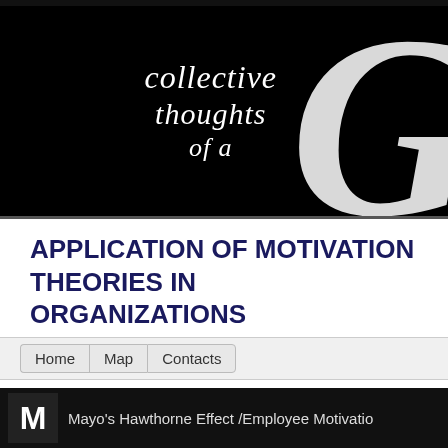[Figure (illustration): Black banner header with cursive white text reading 'collective thoughts of a' and a large decorative white letter G on the right side]
APPLICATION OF MOTIVATION THEORIES IN ORGANIZATIONS
Home
Map
Contacts
You are here: Home > Holowiliena > Application of motivation theories i
[Figure (screenshot): Bottom black bar with Mayo icon and partial text 'Mayo's Hawthorne Effect/Employee Motivatio']